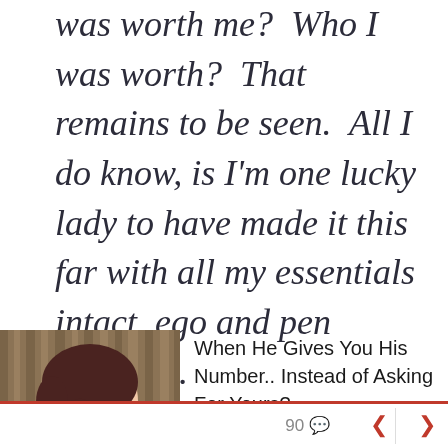was worth me?  Who I was worth?  That remains to be seen.  All I do know, is I'm one lucky lady to have made it this far with all my essentials intact, ego and pen included.
[Figure (illustration): Cartoon-style illustration of a woman with short dark hair against a striped brown background]
When He Gives You His Number.. Instead of Asking For Yours?